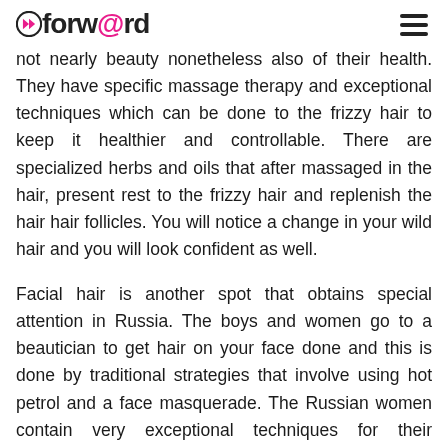forw@rd
not nearly beauty nonetheless also of their health. They have specific massage therapy and exceptional techniques which can be done to the frizzy hair to keep it healthier and controllable. There are specialized herbs and oils that after massaged in the hair, present rest to the frizzy hair and replenish the hair hair follicles. You will notice a change in your wild hair and you will look confident as well.
Facial hair is another spot that obtains special attention in Russia. The boys and women go to a beautician to get hair on your face done and this is done by traditional strategies that involve using hot petrol and a face masquerade. The Russian women contain very exceptional techniques for their particular facial hair. They will cover all their faces using a mask composed of substances including lavender,